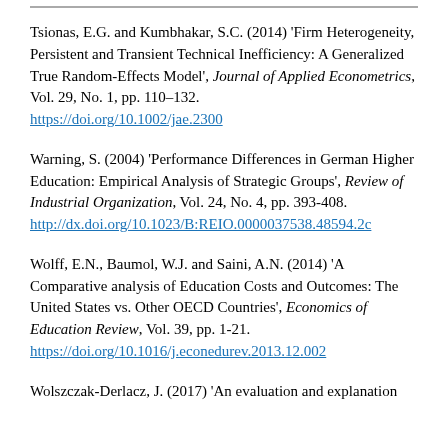Tsionas, E.G. and Kumbhakar, S.C. (2014) 'Firm Heterogeneity, Persistent and Transient Technical Inefficiency: A Generalized True Random-Effects Model', Journal of Applied Econometrics, Vol. 29, No. 1, pp. 110–132. https://doi.org/10.1002/jae.2300
Warning, S. (2004) 'Performance Differences in German Higher Education: Empirical Analysis of Strategic Groups', Review of Industrial Organization, Vol. 24, No. 4, pp. 393-408. http://dx.doi.org/10.1023/B:REIO.0000037538.48594.2c
Wolff, E.N., Baumol, W.J. and Saini, A.N. (2014) 'A Comparative analysis of Education Costs and Outcomes: The United States vs. Other OECD Countries', Economics of Education Review, Vol. 39, pp. 1-21. https://doi.org/10.1016/j.econedurev.2013.12.002
Wolszczak-Derlacz, J. (2017) 'An evaluation and explanation...